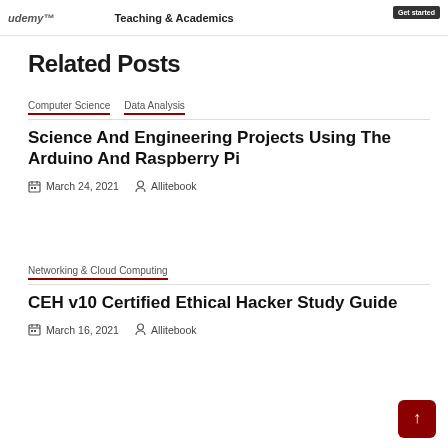udemy™  Teaching & Academics  Get started
Related Posts
Computer Science   Data Analysis
Science And Engineering Projects Using The Arduino And Raspberry Pi
March 24, 2021   Allitebook
Networking & Cloud Computing
CEH v10 Certified Ethical Hacker Study Guide
March 16, 2021   Allitebook